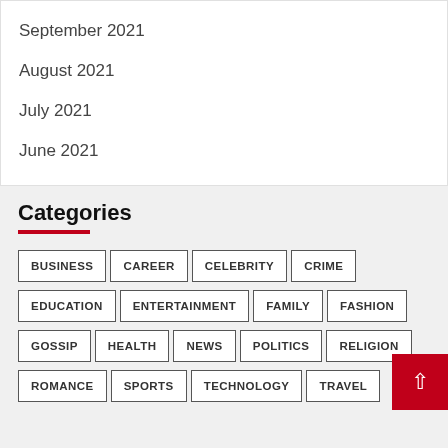September 2021
August 2021
July 2021
June 2021
Categories
BUSINESS
CAREER
CELEBRITY
CRIME
EDUCATION
ENTERTAINMENT
FAMILY
FASHION
GOSSIP
HEALTH
NEWS
POLITICS
RELIGION
ROMANCE
SPORTS
TECHNOLOGY
TRAVEL